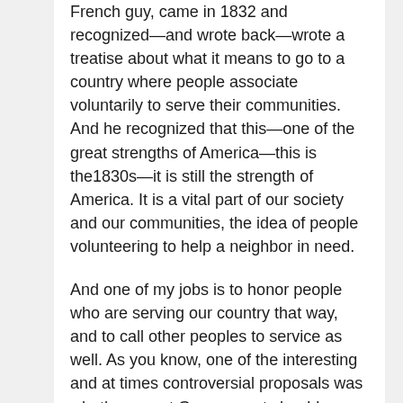French guy, came in 1832 and recognized—and wrote back—wrote a treatise about what it means to go to a country where people associate voluntarily to serve their communities. And he recognized that this—one of the great strengths of America—this is the1830s—it is still the strength of America. It is a vital part of our society and our communities, the idea of people volunteering to help a neighbor in need.
And one of my jobs is to honor people who are serving our country that way, and to call other peoples to service as well. As you know, one of the interesting and at times controversial proposals was whether or not Government should open up grant money for competitive bidding for